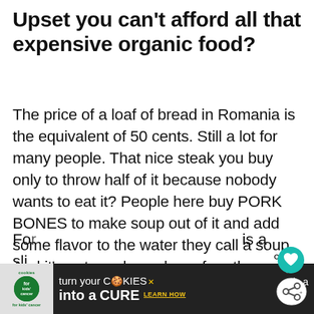Upset you can’t afford all that expensive organic food?
The price of a loaf of bread in Romania is the equivalent of 50 cents. Still a lot for many people. That nice steak you buy only to throw half of it because nobody wants to eat it? People here buy PORK BONES to make soup out of it and add some flavor to the water they call a soup. And it’s not used as a base for other foods – that is their meal!
Fo... sli...
[Figure (other): Advertisement banner: cookies for kids cancer - turn your COOKIES into a CURE LEARN HOW]